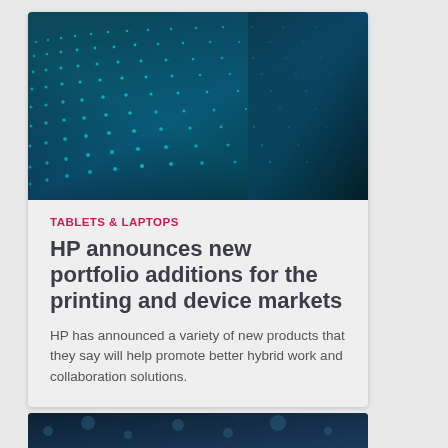[Figure (photo): Close-up photo of a glowing blue digital/circuit board or LED dot matrix pattern on a dark background, creating a tech/data visual effect.]
TABLETS & LAPTOPS
HP announces new portfolio additions for the printing and device markets
HP has announced a variety of new products that they say will help promote better hybrid work and collaboration solutions.
[Figure (photo): Partial view of a second article card below, showing a dark blue toned image, cropped at bottom of page.]